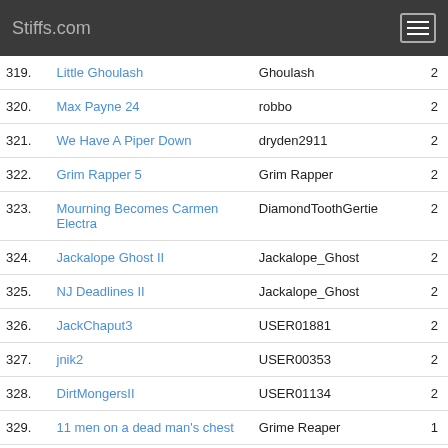Stiffs.com
| # | Name | User | Score |
| --- | --- | --- | --- |
| 319. | Little Ghoulash | Ghoulash | 2 |
| 320. | Max Payne 24 | robbo | 2 |
| 321. | We Have A Piper Down | dryden2911 | 2 |
| 322. | Grim Rapper 5 | Grim Rapper | 2 |
| 323. | Mourning Becomes Carmen Electra | DiamondToothGertie | 2 |
| 324. | Jackalope Ghost II | Jackalope_Ghost | 2 |
| 325. | NJ Deadlines II | Jackalope_Ghost | 2 |
| 326. | JackChaput3 | USER01881 | 2 |
| 327. | jnik2 | USER00353 | 2 |
| 328. | DirtMongersII | USER01134 | 2 |
| 329. | 11 men on a dead man's chest | Grime Reaper | 1 |
| 330. | Look Beneath the Surface | BairBones | 1 |